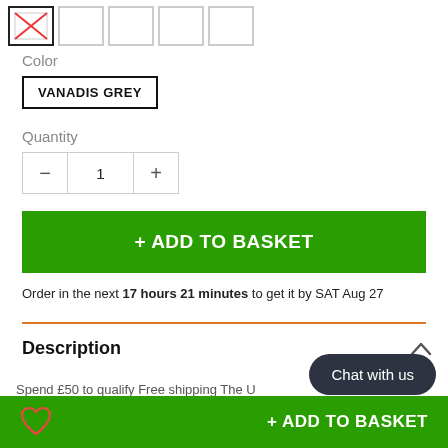[Figure (screenshot): Product image thumbnails row: first thumbnail has a black border with an X placeholder image (broken image icon), second thumbnail active with bold border, remaining thumbnails empty with light grey borders.]
Color
VANADIS GREY
Quantity
[Figure (other): Quantity selector control with minus button, value 1, and plus button, surrounded by a light grey border.]
+ ADD TO BASKET
Order in the next 17 hours 21 minutes to get it by SAT Aug 27
Description
Spend £50 to qualify Free shipping The U
Chat with us
+ ADD TO BASKET